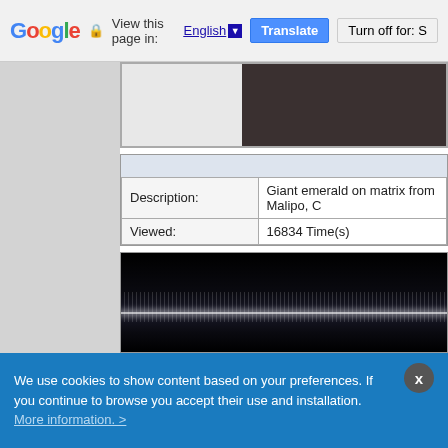Google — View this page in: English ▼  Translate  Turn off for: S
[Figure (photo): Partial screenshot of a webpage showing a dark brownish image (likely a mineral/gemstone photo) in the upper portion, and below it a table with description and view count, followed by a dark image of what appears to be an emerald mineral specimen under dark lighting.]
| Field | Value |
| --- | --- |
| Description: | Giant emerald on matrix from Malipo, ... |
| Viewed: | 16834 Time(s) |
We use cookies to show content based on your preferences. If you continue to browse you accept their use and installation. More information. >